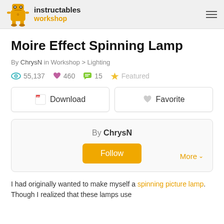instructables workshop
Moire Effect Spinning Lamp
By ChrysN in Workshop > Lighting
55,137  460  15  Featured
Download   Favorite
By ChrysN  Follow  More
I had originally wanted to make myself a spinning picture lamp. Though I realized that these lamps use